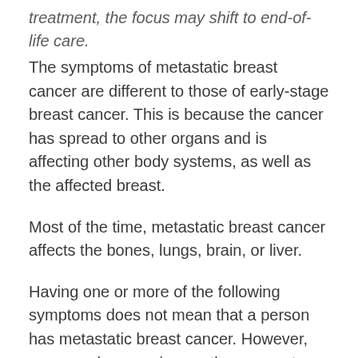treatment, the focus may shift to end-of-life care.
The symptoms of metastatic breast cancer are different to those of early-stage breast cancer. This is because the cancer has spread to other organs and is affecting other body systems, as well as the affected breast.
Most of the time, metastatic breast cancer affects the bones, lungs, brain, or liver.
Having one or more of the following symptoms does not mean that a person has metastatic breast cancer. However, anyone who experiences these symptoms should see a doctor for an evaluation.
Bone metastasis symptoms
Metastatic breast cancer most commonly spreads to the bones. Symptoms of bone metastasis include: